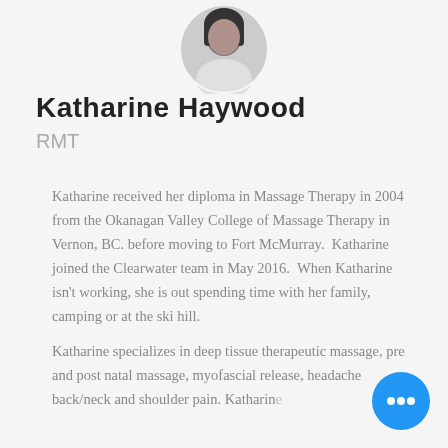[Figure (photo): Circular profile photo of Katharine Haywood, a woman with dark hair]
Katharine Haywood
RMT
Katharine received her diploma in Massage Therapy in 2004 from the Okanagan Valley College of Massage Therapy in Vernon, BC. before moving to Fort McMurray.  Katharine joined the Clearwater team in May 2016.  When Katharine isn't working, she is out spending time with her family, camping or at the ski hill.
Katharine specializes in deep tissue therapeutic massage, pre and post natal massage, myofascial release, headache back/neck and shoulder pain. Katharine